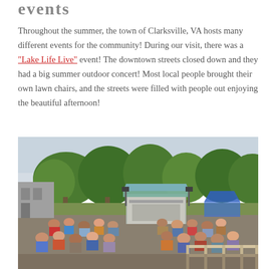events
Throughout the summer, the town of Clarksville, VA hosts many different events for the community! During our visit, there was a "Lake Life Live" event! The downtown streets closed down and they had a big summer outdoor concert! Most local people brought their own lawn chairs, and the streets were filled with people out enjoying the beautiful afternoon!
[Figure (photo): Outdoor summer concert event in Clarksville, VA. A crowd of people sitting in lawn chairs watching a covered stage/bandstand. Trees in background, blue tent on the right, buildings on the left, overcast sky.]